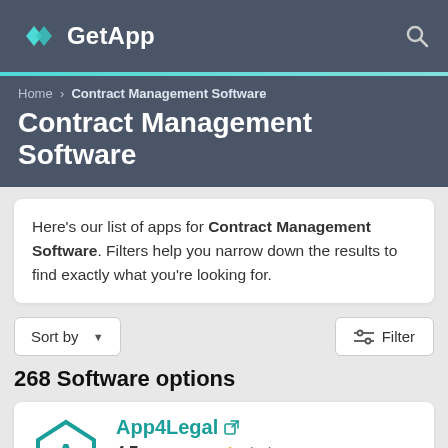GetApp
Home › Contract Management Software
Contract Management Software
Here's our list of apps for Contract Management Software. Filters help you narrow down the results to find exactly what you're looking for.
Sort by ▾
Filter
268 Software options
App4Legal 🔗
4.7 ★★★★½ (38)